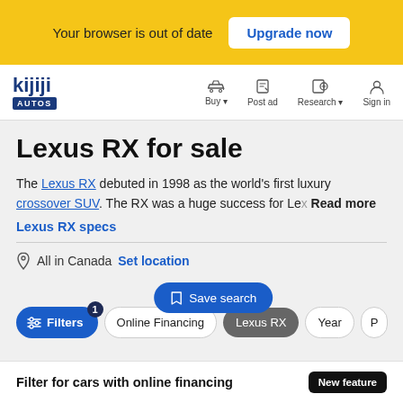Your browser is out of date  Upgrade now
[Figure (screenshot): Kijiji Autos navigation bar with Buy, Post ad, Research, Sign in links]
Lexus RX for sale
The Lexus RX debuted in 1998 as the world's first luxury crossover SUV. The RX was a huge success for Le... Read more
Lexus RX specs
All in Canada  Set location
Filters 1  Online Financing  Lexus RX  Year  P  Save search
Filter for cars with online financing  New feature